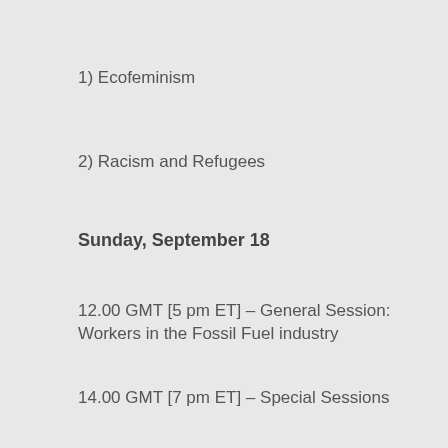1) Ecofeminism
2) Racism and Refugees
Sunday, September 18
12.00 GMT [5 pm ET] – General Session: Workers in the Fossil Fuel industry
14.00 GMT [7 pm ET] – Special Sessions
1) Cutting Emissions
2) Resilience